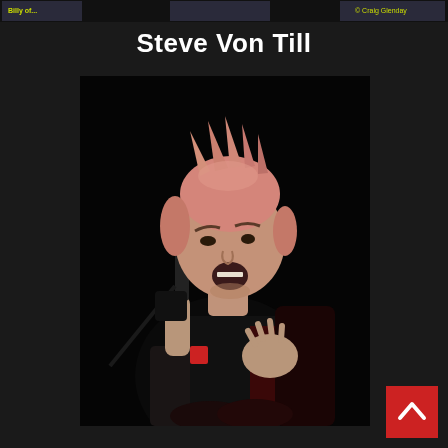[Figure (other): Top strip with thumbnail images including text label 'Craig Glenday' on the right side]
Steve Von Till
[Figure (photo): A male rock musician with spiky reddish-blond hair singing into a microphone on stage, wearing a black vest and fingerless gloves, with tattoos visible, against a dark background]
[Figure (other): Red back-to-top button with upward-pointing chevron arrow in the bottom right corner]